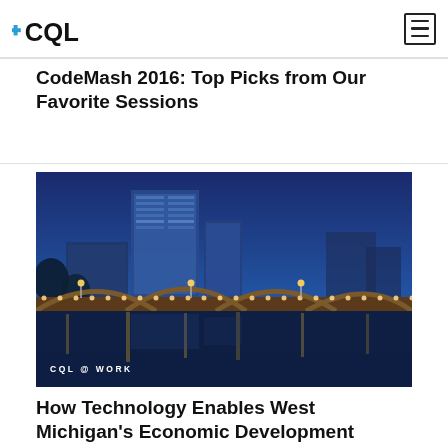CQL (logo)
CodeMash 2016: Top Picks from Our Favorite Sessions
[Figure (photo): Night cityscape of Grand Rapids, Michigan showing illuminated bridge over river with city skyline in background, with 'CQL @ WORK' label overlay]
How Technology Enables West Michigan's Economic Development